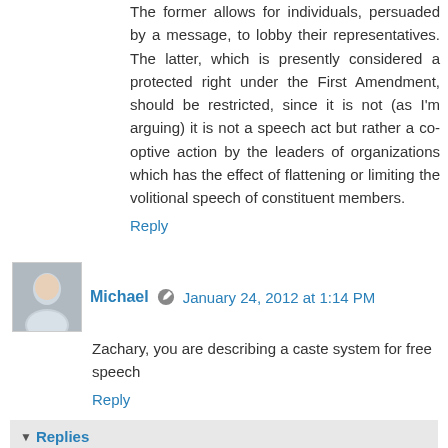The former allows for individuals, persuaded by a message, to lobby their representatives. The latter, which is presently considered a protected right under the First Amendment, should be restricted, since it is not (as I'm arguing) it is not a speech act but rather a co-optive action by the leaders of organizations which has the effect of flattening or limiting the volitional speech of constituent members.
Reply
Michael  January 24, 2012 at 1:14 PM
Zachary, you are describing a caste system for free speech
Reply
Replies
Flavorscape  April 20, 2012 at 3:55 PM
There already is a caste system. It's called being born poor.